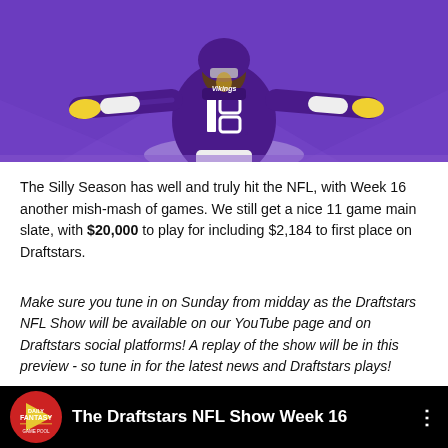[Figure (photo): NFL player wearing Minnesota Vikings #18 purple jersey with arms spread wide on a purple field]
The Silly Season has well and truly hit the NFL, with Week 16 another mish-mash of games. We still get a nice 11 game main slate, with $20,000 to play for including $2,184 to first place on Draftstars.
Make sure you tune in on Sunday from midday as the Draftstars NFL Show will be available on our YouTube page and on Draftstars social platforms! A replay of the show will be in this preview - so tune in for the latest news and Draftstars plays!
[Figure (screenshot): YouTube video thumbnail bar: Daily Fantasy logo on left, title 'The Draftstars NFL Show Week 16' in white on black background, three-dot menu on right]